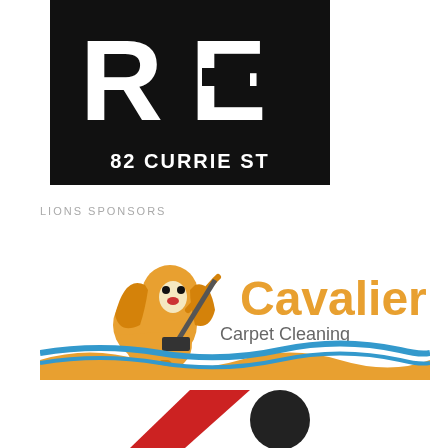[Figure (logo): Real estate / property logo with large 'RE' letters and text '82 CURRIE ST' on black background]
LIONS SPONSORS
[Figure (logo): Cavalier Carpet Cleaning logo featuring a cartoon Cavalier King Charles Spaniel dog holding a carpet cleaning wand, with orange and blue wave design]
[Figure (logo): Partial logo visible at bottom of page with red and dark elements]